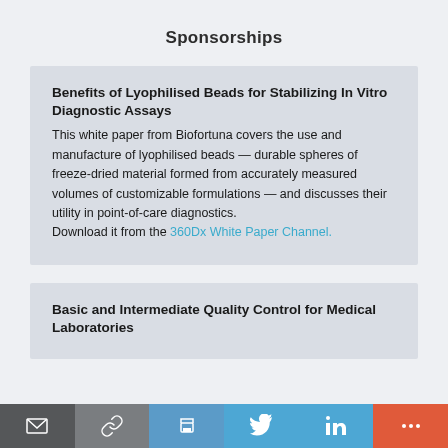Sponsorships
Benefits of Lyophilised Beads for Stabilizing In Vitro Diagnostic Assays
This white paper from Biofortuna covers the use and manufacture of lyophilised beads — durable spheres of freeze-dried material formed from accurately measured volumes of customizable formulations — and discusses their utility in point-of-care diagnostics.
Download it from the 360Dx White Paper Channel.
Basic and Intermediate Quality Control for Medical Laboratories